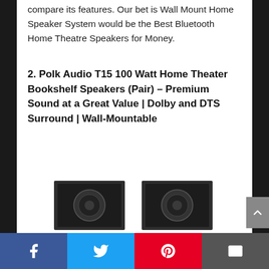compare its features. Our bet is Wall Mount Home Speaker System would be the Best Bluetooth Home Theatre Speakers for Money.
2. Polk Audio T15 100 Watt Home Theater Bookshelf Speakers (Pair) – Premium Sound at a Great Value | Dolby and DTS Surround | Wall-Mountable
[Figure (photo): Two black Polk Audio T15 bookshelf speakers side by side, partially visible at bottom of page]
Facebook | Twitter | Pinterest | Email social sharing bar